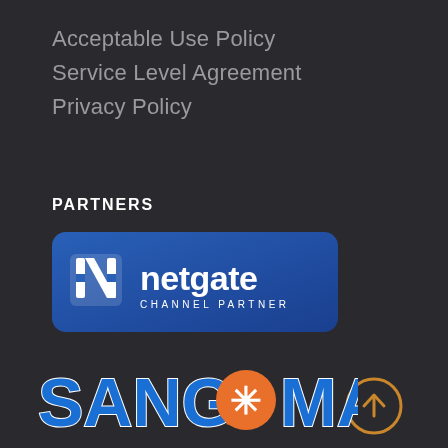Acceptable Use Policy
Service Level Agreement
Privacy Policy
PARTNERS
[Figure (logo): Netgate Channel Partner logo: blue rounded rectangle with white Netgate logo and text 'netgate' and 'CHANNEL PARTNER']
[Figure (other): Scroll-to-top button: golden/amber circle with upward arrow]
[Figure (logo): Sangoma logo: bold blue text 'SANGOMA' with orange asterisk/speech-bubble icon replacing the letter O]